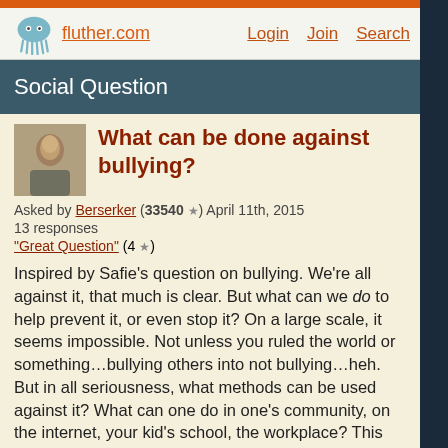fluther.com  Login  Join  Search
Social Question
What can be done against bullying?
Asked by Berserker (33540 ★) April 11th, 2015
13 responses
"Great Question" (4 ★)
Inspired by Safie's question on bullying. We're all against it, that much is clear. But what can we do to help prevent it, or even stop it? On a large scale, it seems impossible. Not unless you ruled the world or something…bullying others into not bullying…heh. But in all seriousness, what methods can be used against it? What can one do in one's community, on the internet, your kid's school, the workplace? This question applies to both children and adults being bullied. We all despise it, but just saying that is not enough. What can